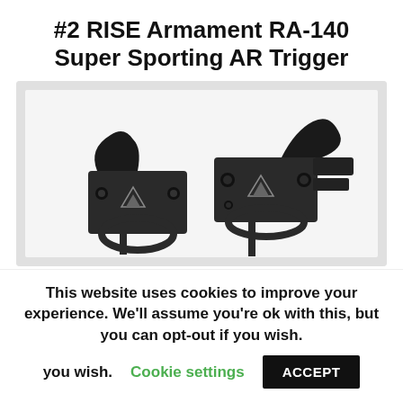#2 RISE Armament RA-140 Super Sporting AR Trigger
[Figure (photo): Two RISE Armament RA-140 Super Sporting AR trigger assemblies shown side by side, dark metal components with logo engraving, against a light gray background.]
This website uses cookies to improve your experience. We'll assume you're ok with this, but you can opt-out if you wish. Cookie settings ACCEPT